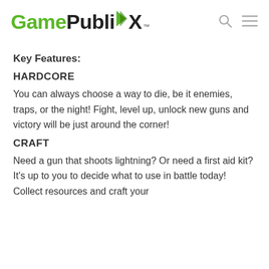GamePublX™
Key Features:
HARDCORE
You can always choose a way to die, be it enemies, traps, or the night! Fight, level up, unlock new guns and victory will be just around the corner!
CRAFT
Need a gun that shoots lightning? Or need a first aid kit? It's up to you to decide what to use in battle today! Collect resources and craft your